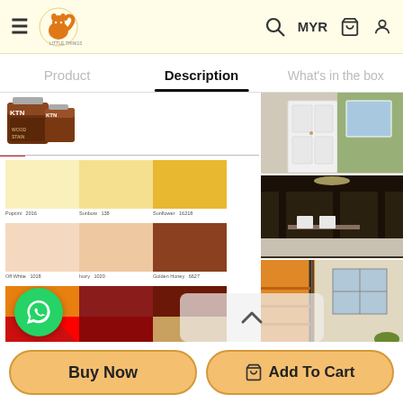Little Things store header with hamburger menu, logo, search, MYR, cart, and user icons
Product | Description | What's in the box
[Figure (photo): Product catalog page showing KTN paint brand with color swatches (yellows, creams, oranges, browns, reds) and interior room photos]
Buy Now | Add To Cart